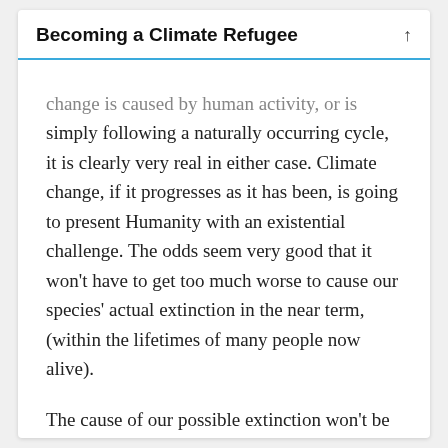Becoming a Climate Refugee
change is caused by human activity, or is simply following a naturally occurring cycle, it is clearly very real in either case. Climate change, if it progresses as it has been, is going to present Humanity with an existential challenge. The odds seem very good that it won't have to get too much worse to cause our species' actual extinction in the near term, (within the lifetimes of many people now alive).
The cause of our possible extinction won't be from the immediate affects of climate change, from fires, floods, and raging winds,